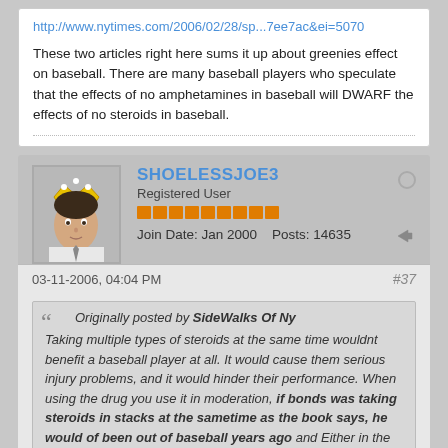http://www.nytimes.com/2006/02/28/sp...7ee7ac&ei=5070
These two articles right here sums it up about greenies effect on baseball. There are many baseball players who speculate that the effects of no amphetamines in baseball will DWARF the effects of no steroids in baseball.
SHOELESSJOE3
Registered User
Join Date: Jan 2000   Posts: 14635
03-11-2006, 04:04 PM
#37
Originally posted by SideWalks Of Ny
Taking multiple types of steroids at the same time wouldnt benefit a baseball player at all. It would cause them serious injury problems, and it would hinder their performance. When using the drug you use it in moderation, if bonds was taking steroids in stacks at the sametime as the book says, he would of been out of baseball years ago and Either in the sameboat caminiti or azado were in.
"